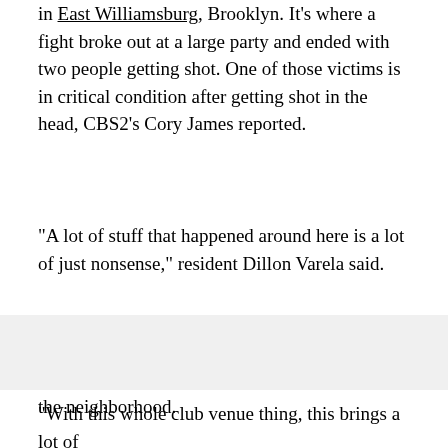in East Williamsburg, Brooklyn. It's where a fight broke out at a large party and ended with two people getting shot. One of those victims is in critical condition after getting shot in the head, CBS2's Cory James reported.
"A lot of stuff that happened around here is a lot of just nonsense," resident Dillon Varela said.
Varela told James he has lived in the area for close to 20 years and that he noticed an increase in crime after a popular music venue opened in the neighborhood.
"With this whole club venue thing, this brings a lot of